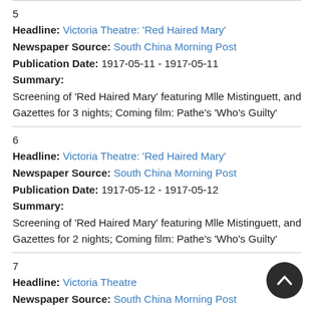5
Headline: Victoria Theatre: 'Red Haired Mary'
Newspaper Source: South China Morning Post
Publication Date: 1917-05-11 - 1917-05-11
Summary:
Screening of 'Red Haired Mary' featuring Mlle Mistinguett, and Gazettes for 3 nights; Coming film: Pathe's 'Who's Guilty'
6
Headline: Victoria Theatre: 'Red Haired Mary'
Newspaper Source: South China Morning Post
Publication Date: 1917-05-12 - 1917-05-12
Summary:
Screening of 'Red Haired Mary' featuring Mlle Mistinguett, and Gazettes for 2 nights; Coming film: Pathe's 'Who's Guilty'
7
Headline: Victoria Theatre
Newspaper Source: South China Morning Post